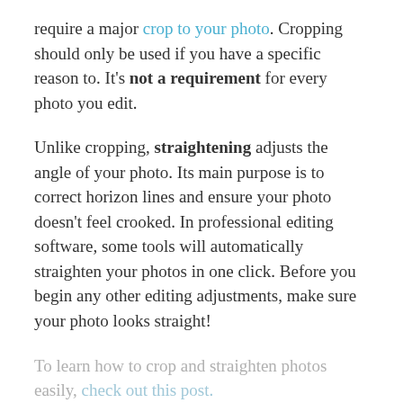require a major crop to your photo. Cropping should only be used if you have a specific reason to. It's not a requirement for every photo you edit.
Unlike cropping, straightening adjusts the angle of your photo. Its main purpose is to correct horizon lines and ensure your photo doesn't feel crooked. In professional editing software, some tools will automatically straighten your photos in one click. Before you begin any other editing adjustments, make sure your photo looks straight!
To learn how to crop and straighten photos easily, check out this post.